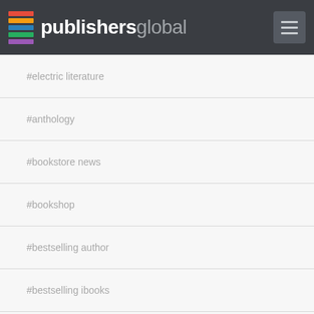publishersglobal
#electric literature
#anthology
#bookstore news
#bookshop
#bestselling author
#bestselling ibooks
#booksellers association
#hachette
#frankfurter buchmesse